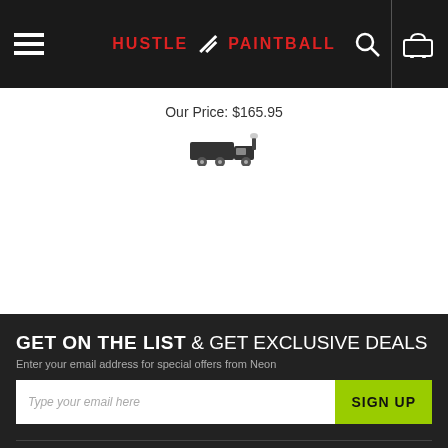Hustle Paintball — navigation header with menu, logo, search, cart
Our Price: $165.95
[Figure (illustration): Small shipping truck icon]
GET ON THE LIST & GET EXCLUSIVE DEALS
Enter your email address for special offers from Neon
Type your email here
SIGN UP
COMPANY
ACCOUNT